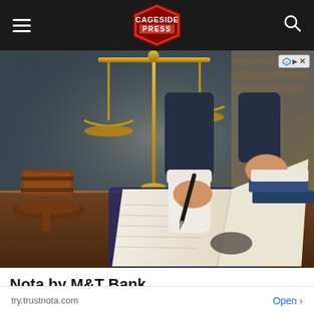Cageside Press — navigation header with hamburger menu, logo, and search icon
[Figure (photo): Photo of a person in a suit signing a document/book on a desk, with golden scales of justice and a wooden gavel in the background. Legal/law themed stock photo.]
Nota by M&T Bank
try.trustnota.com   Open >